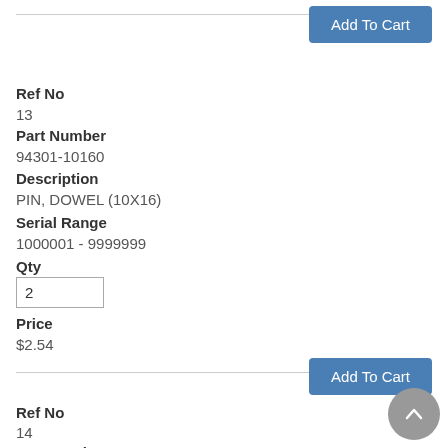Add To Cart (button, top)
Ref No
13
Part Number
94301-10160
Description
PIN, DOWEL (10X16)
Serial Range
1000001 - 9999999
Qty
2
Price
$2.54
Add To Cart (button, bottom)
Ref No
14
Part Number